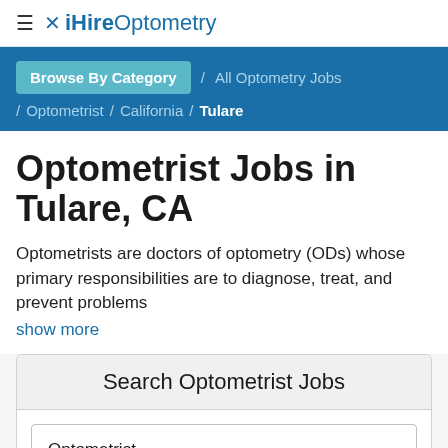≡ × iHireOptometry
Browse By Category / All Optometry Jobs / Optometrist / California / Tulare
Optometrist Jobs in Tulare, CA
Optometrists are doctors of optometry (ODs) whose primary responsibilities are to diagnose, treat, and prevent problems
show more
Search Optometrist Jobs
Optometrist